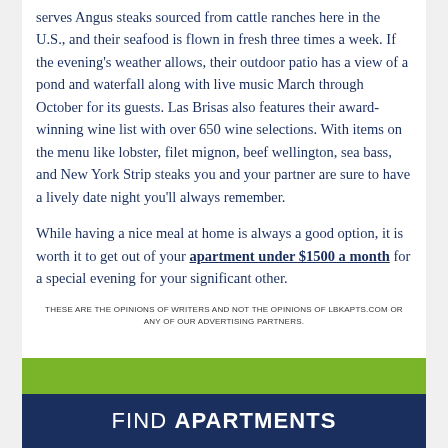serves Angus steaks sourced from cattle ranches here in the U.S., and their seafood is flown in fresh three times a week. If the evening's weather allows, their outdoor patio has a view of a pond and waterfall along with live music March through October for its guests. Las Brisas also features their award-winning wine list with over 650 wine selections. With items on the menu like lobster, filet mignon, beef wellington, sea bass, and New York Strip steaks you and your partner are sure to have a lively date night you'll always remember.
While having a nice meal at home is always a good option, it is worth it to get out of your apartment under $1500 a month for a special evening for your significant other.
THESE ARE THE OPINIONS OF WRITERS AND NOT THE OPINIONS OF LBKAPTS.COM OR ANY OF OUR ADVERTISING PARTNERS.
[Figure (other): Green bar above a dark navy blue banner reading FIND APARTMENTS]